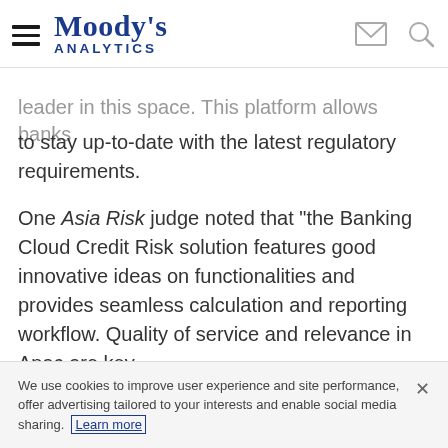Moody's Analytics
leader in this space. This platform allows banks to stay up-to-date with the latest regulatory requirements.
One Asia Risk judge noted that "the Banking Cloud Credit Risk solution features good innovative ideas on functionalities and provides seamless calculation and reporting workflow. Quality of service and relevance in Apac are key
We use cookies to improve user experience and site performance, offer advertising tailored to your interests and enable social media sharing. Learn more